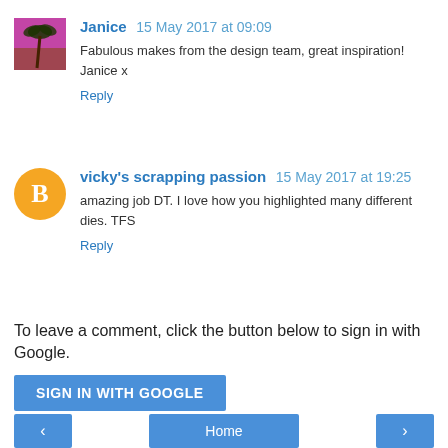[Figure (photo): Avatar photo of Janice showing a tropical palm tree scene with pink/purple sky]
Janice  15 May 2017 at 09:09
Fabulous makes from the design team, great inspiration!
Janice x
Reply
[Figure (logo): Orange circle with white letter B - Blogger avatar icon for vicky's scrapping passion]
vicky's scrapping passion  15 May 2017 at 19:25
amazing job DT. I love how you highlighted many different dies. TFS
Reply
To leave a comment, click the button below to sign in with Google.
SIGN IN WITH GOOGLE
‹   Home   ›